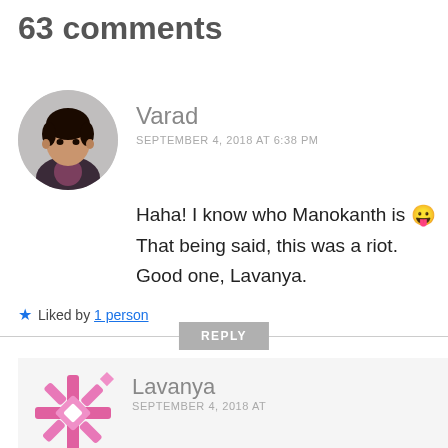63 comments
[Figure (photo): Circular avatar photo of a young man in a dark jacket]
Varad
SEPTEMBER 4, 2018 AT 6:38 PM
Haha! I know who Manokanth is 😛 That being said, this was a riot. Good one, Lavanya.
★ Liked by 1 person
REPLY
[Figure (illustration): Pink snowflake/geometric avatar for Lavanya]
Lavanya
SEPTEMBER 4, 2018 AT